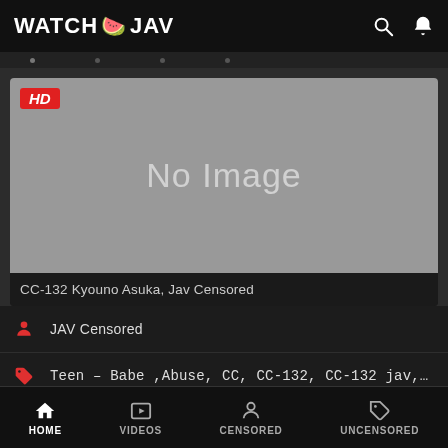WATCH JAV
[Figure (screenshot): Video thumbnail placeholder showing 'No Image' on grey background with HD badge in top-left corner]
CC-132 Kyouno Asuka, Jav Censored
JAV Censored
Teen - Babe ,Abuse, CC, CC-132, CC-132 jav,…
HOME  VIDEOS  CENSORED  UNCENSORED